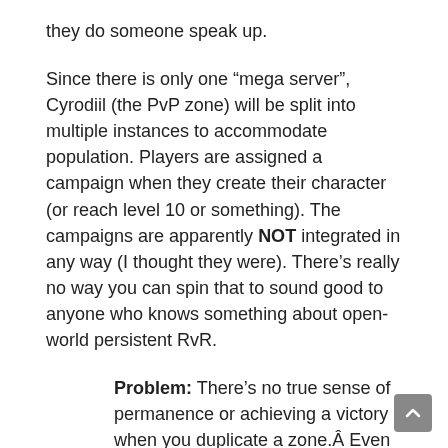they do someone speak up.
Since there is only one “mega server”, Cyrodiil (the PvP zone) will be split into multiple instances to accommodate population. Players are assigned a campaign when they create their character (or reach level 10 or something). The campaigns are apparently NOT integrated in any way (I thought they were). There’s really no way you can spin that to sound good to anyone who knows something about open-world persistent RvR.
Problem: There’s no true sense of permanence or achieving a victory when you duplicate a zone.Â Even if you call them “permanent instances,” even if they are technically open all the time and mimic servers, nothing is ultimately hinging on your